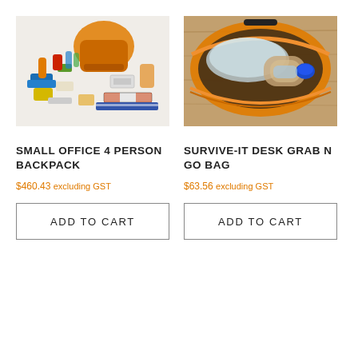[Figure (photo): Emergency preparedness backpack surrounded by various survival supplies and equipment including food, water bottles, first aid items, and tools spread out on a white background]
[Figure (photo): Open orange bag containing a large plastic water bottle, photographed from above on a wooden surface]
SMALL OFFICE 4 PERSON BACKPACK
$460.43 excluding GST
ADD TO CART
SURVIVE-IT DESK GRAB N GO BAG
$63.56 excluding GST
ADD TO CART